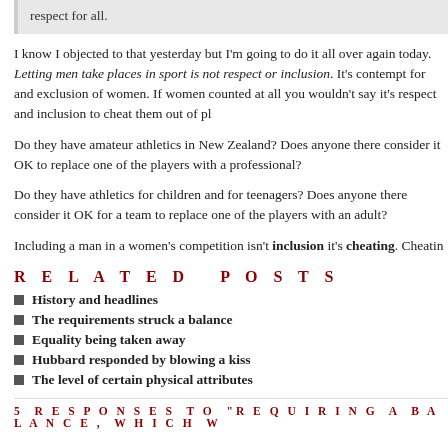respect for all.
I know I objected to that yesterday but I'm going to do it all over again today. Letting men take places in sport is not respect or inclusion. It's contempt for and exclusion of women. If women counted at all you wouldn't say it's respect and inclusion to cheat them out of places.
Do they have amateur athletics in New Zealand? Does anyone there consider it OK to replace one of the players with a professional?
Do they have athletics for children and for teenagers? Does anyone there consider it OK for a team to replace one of the players with an adult?
Including a man in a women's competition isn't inclusion it's cheating. Cheating
Related Posts
History and headlines
The requirements struck a balance
Equality being taken away
Hubbard responded by blowing a kiss
The level of certain physical attributes
5 RESPONSES TO "REQUIRING A BALANCE, WHICH W